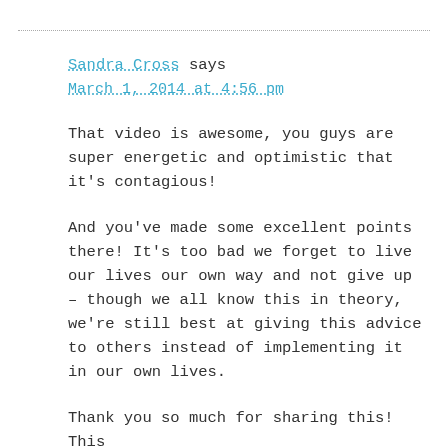Sandra Cross says
March 1, 2014 at 4:56 pm
That video is awesome, you guys are super energetic and optimistic that it's contagious!
And you've made some excellent points there! It's too bad we forget to live our lives our own way and not give up – though we all know this in theory, we're still best at giving this advice to others instead of implementing it in our own lives.
Thank you so much for sharing this! This